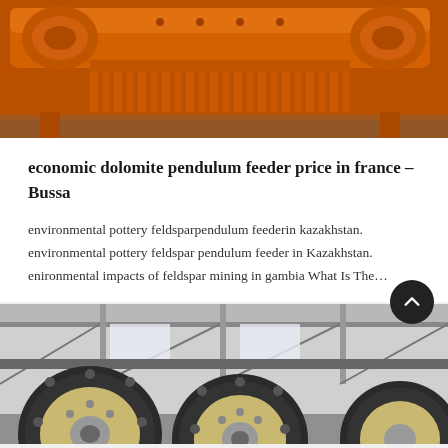[Figure (photo): Orange industrial mining/crushing machine equipment photographed outdoors]
economic dolomite pendulum feeder price in france – Bussa
environmental pottery feldsparpendulum feederin kazakhstan.
environmental pottery feldspar pendulum feeder in Kazakhstan.
enironmental impacts of feldspar mining in gambia What Is The…
[Figure (photo): Industrial factory interior with large circular jaw crusher machines on the floor of a workshop]